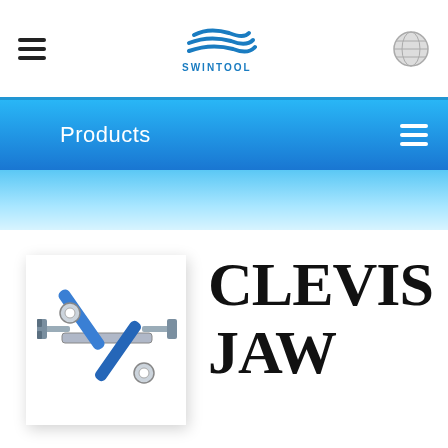SWINTOOL logo, hamburger menu, globe icon
Products
[Figure (photo): Clevis jaw ratchet turnbuckle tool — two wrenches/ratchet handles with blue grips crossing each other, with clevis jaw ends]
CLEVIS JAW RATCHET TURNBUCKLE